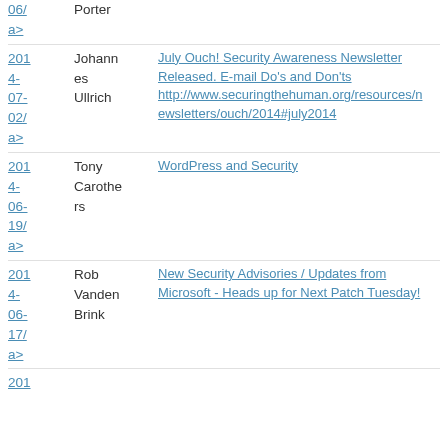2014-06/ a> | Porter | (truncated top)
2014-07-02/ a> | Johannes Ullrich | July Ouch! Security Awareness Newsletter Released. E-mail Do's and Don'ts http://www.securingthehuman.org/resources/newsletters/ouch/2014#july2014
2014-06-19/ a> | Tony Carothers | WordPress and Security
2014-06-17/ a> | Rob Vanden Brink | New Security Advisories / Updates from Microsoft - Heads up for Next Patch Tuesday!